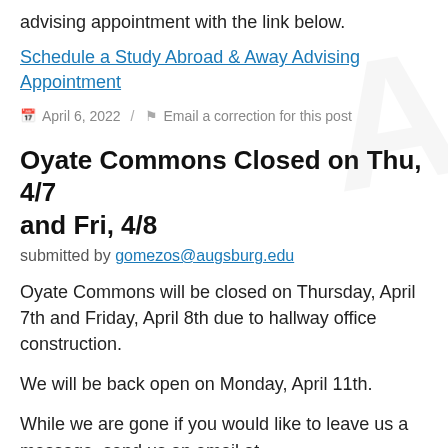advising appointment with the link below.
Schedule a Study Abroad & Away Advising Appointment
April 6, 2022 / Email a correction for this post
Oyate Commons Closed on Thu, 4/7 and Fri, 4/8
submitted by gomezos@augsburg.edu
Oyate Commons will be closed on Thursday, April 7th and Friday, April 8th due to hallway office construction.
We will be back open on Monday, April 11th.
While we are gone if you would like to leave us a message, send us an email at mlife@augsburg.edu.